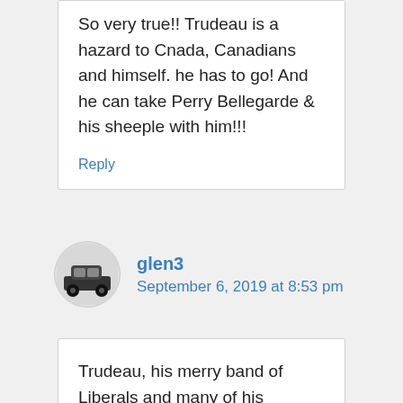So very true!! Trudeau is a hazard to Cnada, Canadians and himself. he has to go! And he can take Perry Bellegarde & his sheeple with him!!!
Reply
glen3
September 6, 2019 at 8:53 pm
Trudeau, his merry band of Liberals and many of his catered to, entitles chiefs, band councils and their sheeple have ruined and continue to